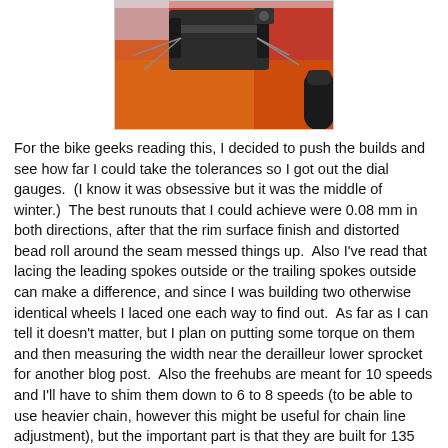[Figure (photo): Photo of a bicycle hub or mechanical component (likely a rear hub/freehub assembly) on an orange/red surface, with a black cylindrical object visible on the right side.]
For the bike geeks reading this, I decided to push the builds and see how far I could take the tolerances so I got out the dial gauges.  (I know it was obsessive but it was the middle of winter.)  The best runouts that I could achieve were 0.08 mm in both directions, after that the rim surface finish and distorted bead roll around the seam messed things up.  Also I've read that lacing the leading spokes outside or the trailing spokes outside can make a difference, and since I was building two otherwise identical wheels I laced one each way to find out.  As far as I can tell it doesn't matter, but I plan on putting some torque on them and then measuring the width near the derailleur lower sprocket for another blog post.  Also the freehubs are meant for 10 speeds and I'll have to shim them down to 6 to 8 speeds (to be able to use heavier chain, however this might be useful for chain line adjustment), but the important part is that they are built for 135 mm wide MTB drop outs.